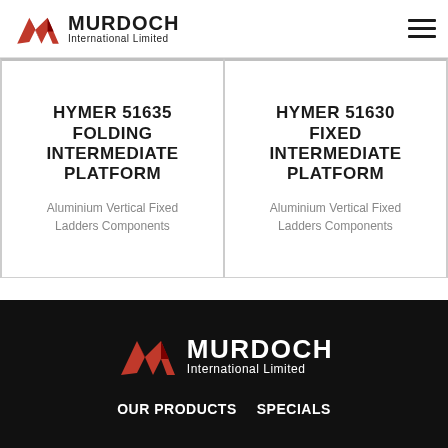Murdoch International Limited
HYMER 51635 FOLDING INTERMEDIATE PLATFORM
Aluminium Vertical Fixed Ladders Components
HYMER 51630 FIXED INTERMEDIATE PLATFORM
Aluminium Vertical Fixed Ladders Components
[Figure (logo): Murdoch International Limited logo on black background footer]
OUR PRODUCTS   SPECIALS